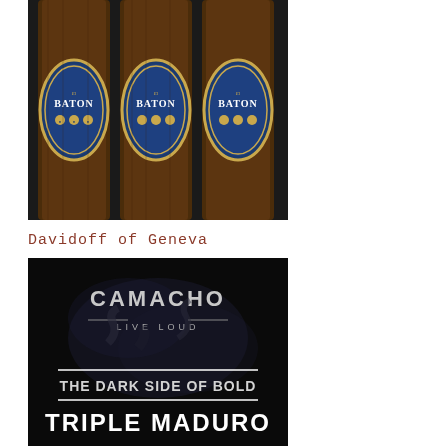[Figure (photo): Three El Baton cigars standing upright side by side, showing dark brown tobacco wrapping with blue and gold oval band labels reading 'El BATON' with decorative elements]
Davidoff of Geneva
[Figure (photo): Dark background advertisement image for Camacho cigars. Text reads: CAMACHO LIVE LOUD / THE DARK SIDE OF BOLD / TRIPLE MADURO]